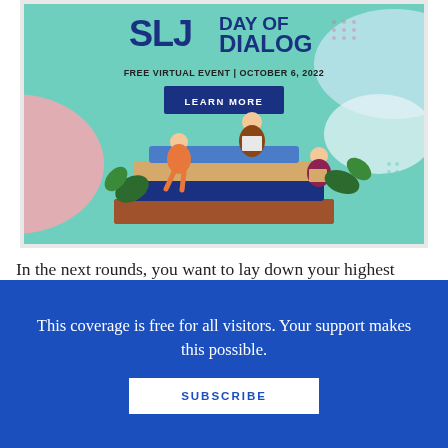[Figure (infographic): SLJ Day of Dialog advertisement banner. Free Virtual Event | October 6, 2022. Shows illustrated people sitting on stacks of books reading, with a teal/mint background, decorative abstract shapes in pink and light blue. 'LEARN MORE' button in dark blue.]
In the next rounds, you want to lay down your highest
This coverage is free for all visitors. Your support makes this possible.
SUBSCRIBE